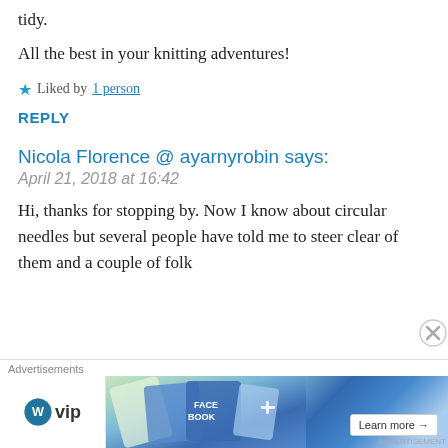tidy.
All the best in your knitting adventures!
★ Liked by 1 person
REPLY
Nicola Florence @ ayarnyrobin says:
April 21, 2018 at 16:42
Hi, thanks for stopping by. Now I know about circular needles but several people have told me to steer clear of them and a couple of folk
[Figure (other): Advertisement banner: WordPress VIP ad with 'Learn more' button]